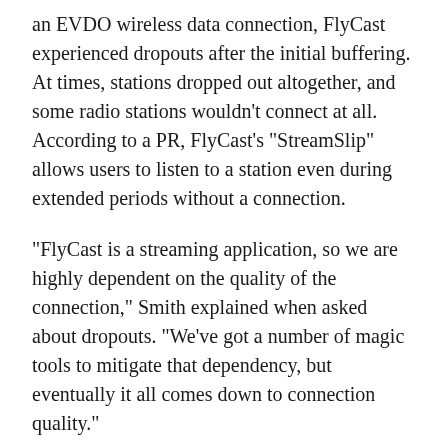an EVDO wireless data connection, FlyCast experienced dropouts after the initial buffering. At times, stations dropped out altogether, and some radio stations wouldn't connect at all. According to a PR, FlyCast's "StreamSlip" allows users to listen to a station even during extended periods without a connection.
"FlyCast is a streaming application, so we are highly dependent on the quality of the connection," Smith explained when asked about dropouts. "We've got a number of magic tools to mitigate that dependency, but eventually it all comes down to connection quality."
Smith goes on to offer an example, saying that when users connect, the FlyCast servers will feed the device